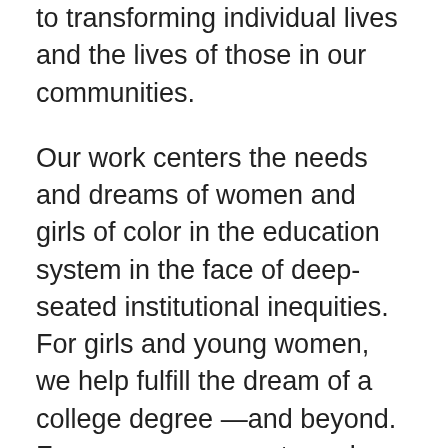to transforming individual lives and the lives of those in our communities.
Our work centers the needs and dreams of women and girls of color in the education system in the face of deep-seated institutional inequities. For girls and young women, we help fulfill the dream of a college degree —and beyond. For women, we create and implement strategies of survival to combat the isms (racism, sexism, classism, colorism) and phobias (homophobia, transphobia, Islamophobia, xenophobia) which threaten to push them out of their doctoral programs and the academy.
We help to advance the larger movement for equity and justice for people of color and other marginalized communities. For